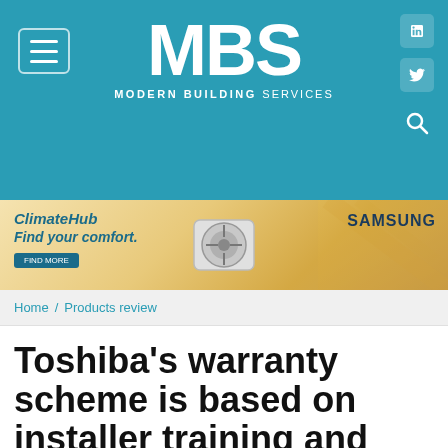MBS MODERN BUILDING SERVICES
[Figure (infographic): Samsung ClimateHub advertisement banner with air conditioning unit image, golden/yellow gradient background, and Samsung branding]
Home / Products review
Toshiba's warranty scheme is based on installer training and competence